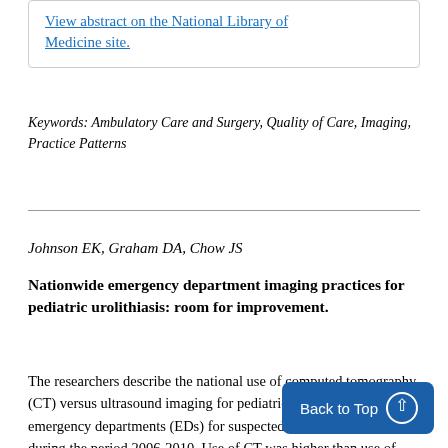View abstract on the National Library of Medicine site.
Keywords: Ambulatory Care and Surgery, Quality of Care, Imaging, Practice Patterns
Johnson EK, Graham DA, Chow JS
Nationwide emergency department imaging practices for pediatric urolithiasis: room for improvement.
The researchers describe the national use of computed tomography (CT) versus ultrasound imaging for pediatric patients seen at emergency departments (EDs) for suspected urolithiasis (SU) during the period 2006-2010. Use of CT was higher than use of ultrasound, although it dropped off